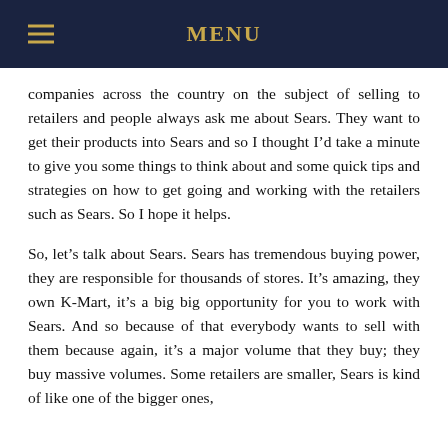MENU
companies across the country on the subject of selling to retailers and people always ask me about Sears. They want to get their products into Sears and so I thought I’d take a minute to give you some things to think about and some quick tips and strategies on how to get going and working with the retailers such as Sears. So I hope it helps.
So, let’s talk about Sears. Sears has tremendous buying power, they are responsible for thousands of stores. It’s amazing, they own K-Mart, it’s a big big opportunity for you to work with Sears. And so because of that everybody wants to sell with them because again, it’s a major volume that they buy; they buy massive volumes. Some retailers are smaller, Sears is kind of like one of the bigger ones,